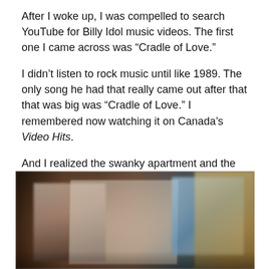After I woke up, I was compelled to search YouTube for Billy Idol music videos. The first one I came across was “Cradle of Love.”
I didn’t listen to rock music until like 1989. The only song he had that really came out after that that was big was “Cradle of Love.” I remembered now watching it on Canada’s Video Hits.
And I realized the swanky apartment and the moving portraits in the video were VERY similar to my dream. (Damn you, subconscious.)
[Figure (photo): A blurred still from the Billy Idol “Cradle of Love” music video showing a person standing in a swanky apartment with large framed portraits/paintings on the walls and a staircase visible on the right.]